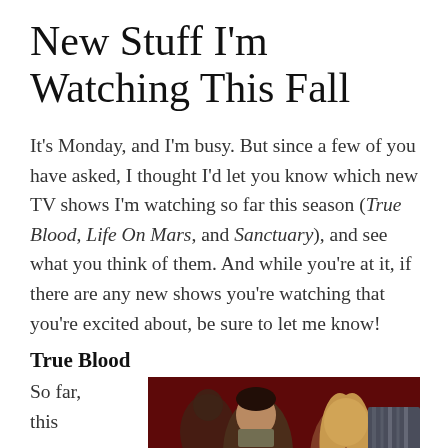New Stuff I'm Watching This Fall
It's Monday, and I'm busy. But since a few of you have asked, I thought I'd let you know which new TV shows I'm watching so far this season (True Blood, Life On Mars, and Sanctuary), and see what you think of them. And while you're at it, if there are any new shows you're watching that you're excited about, be sure to let me know!
True Blood
So far, this new HBO series
[Figure (photo): Two people at a bar or restaurant with red-tinted interior — a dark-haired man leaning toward a blonde woman, from the TV show True Blood]